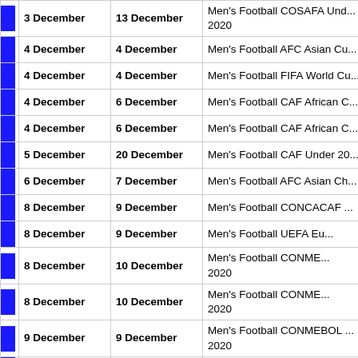|  | Start | End | Event |
| --- | --- | --- | --- |
|  | 3 December | 13 December | Men's Football COSAFA Und... 2020 |
|  | 4 December | 4 December | Men's Football AFC Asian Cu... |
|  | 4 December | 4 December | Men's Football FIFA World Cu... |
|  | 4 December | 6 December | Men's Football CAF African C... |
|  | 4 December | 6 December | Men's Football CAF African C... |
|  | 5 December | 20 December | Men's Football CAF Under 20... |
|  | 6 December | 7 December | Men's Football AFC Asian Ch... |
|  | 8 December | 9 December | Men's Football CONCACAF ... |
|  | 8 December | 9 December | Men's Football UEFA Eu... |
|  | 8 December | 10 December | Men's Football CONME... 2020 |
|  | 8 December | 10 December | Men's Football CONME... 2020 |
|  | 9 December | 9 December | Men's Football CONMEBOL ... 2020 |
|  | 9 December | 10 December | Women's Football UEFA Euro... |